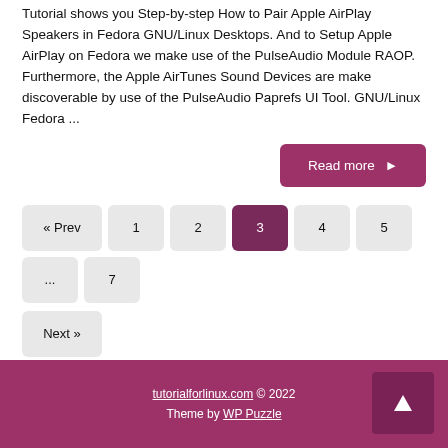Tutorial shows you Step-by-step How to Pair Apple AirPlay Speakers in Fedora GNU/Linux Desktops. And to Setup Apple AirPlay on Fedora we make use of the PulseAudio Module RAOP. Furthermore, the Apple AirTunes Sound Devices are make discoverable by use of the PulseAudio Paprefs UI Tool. GNU/Linux Fedora ...
Read more ►
« Prev  1  2  3  4  5  ...  7
Next »
tutorialforlinux.com © 2022
Theme by WP Puzzle